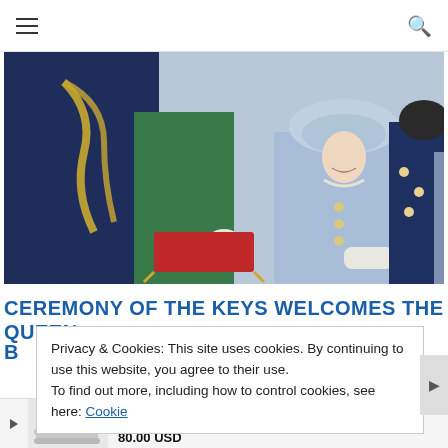Navigation bar with hamburger menu and search icon
[Figure (photo): Outdoor ceremony scene showing Queen Elizabeth II in light blue coat and hat receiving something on a red cushion with gold tassels from a dignitary in a navy suit with ceremonial chain. Other attendees visible in background wearing green and navy outfits.]
CEREMONY OF THE KEYS WELCOMES THE QUEEN
B... (second line partially obscured)
M... (meta/date line partially obscured)
Privacy & Cookies: This site uses cookies. By continuing to use this website, you agree to their use.
To find out more, including how to control cookies, see here: Cookie
Converse Women's Converse Chuck Taylor All Star Hig
sponsored by: JD Sports
80.00 USD